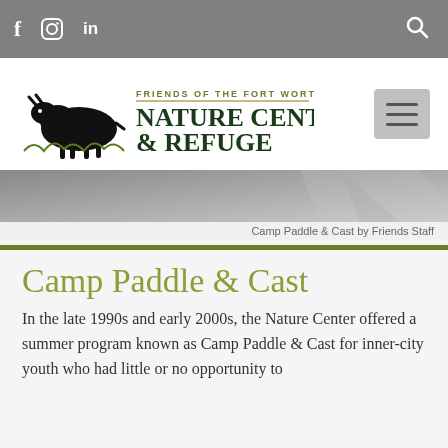f  [instagram]  in  [search]
[Figure (logo): Friends of the Fort Worth Nature Center & Refuge logo with bison illustration]
Camp Paddle & Cast by Friends Staff
Camp Paddle & Cast
In the late 1990s and early 2000s, the Nature Center offered a summer program known as Camp Paddle & Cast for inner-city youth who had little or no opportunity to